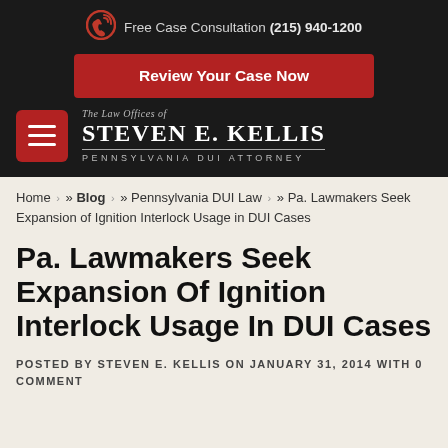Free Case Consultation (215) 940-1200
[Figure (logo): Red phone/call icon SVG]
Review Your Case Now
[Figure (logo): The Law Offices of Steven E. Kellis Pennsylvania DUI Attorney logo with hamburger menu button]
Home » Blog » Pennsylvania DUI Law » Pa. Lawmakers Seek Expansion of Ignition Interlock Usage in DUI Cases
Pa. Lawmakers Seek Expansion Of Ignition Interlock Usage In DUI Cases
POSTED BY STEVEN E. KELLIS ON JANUARY 31, 2014 WITH 0 COMMENT